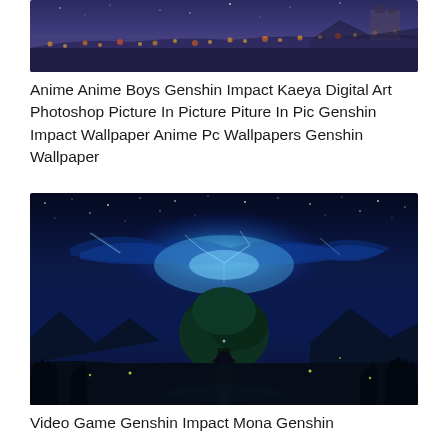[Figure (illustration): Fantasy landscape with purple/blue sky, fields of orange and yellow flowers, ruins or structure in the upper right, panoramic view with dark foreground silhouettes]
Anime Anime Boys Genshin Impact Kaeya Digital Art Photoshop Picture In Picture Piture In Pic Genshin Impact Wallpaper Anime Pc Wallpapers Genshin Wallpaper
[Figure (illustration): Night scene from Genshin Impact featuring a character (Mona) with a witch hat standing under a large magical tree, glowing blue constellation/star patterns in the sky, fireflies, mountains in background]
Video Game Genshin Impact Mona Genshin